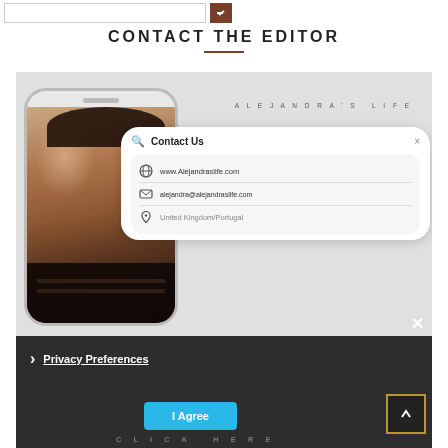CONTACT THE EDITOR
[Figure (screenshot): Screenshot of a website showing a contact page with a phone mockup displaying a woman's photo, a Contact Us card with website URL www.Alejandraslife.com, email alejandra@alejandraslife.com, location United Kingdom/Portugal, the brand text ALEJANDRA'S LIFE, a privacy preferences cookie banner overlay with I Agree button, a close X button, and a scroll-to-top button with a CLICK HERE label]
www.Alejandraslife.com
alejandra@alejandraslife.com
United Kingdom/Portugal
Privacy Preferences
I Agree